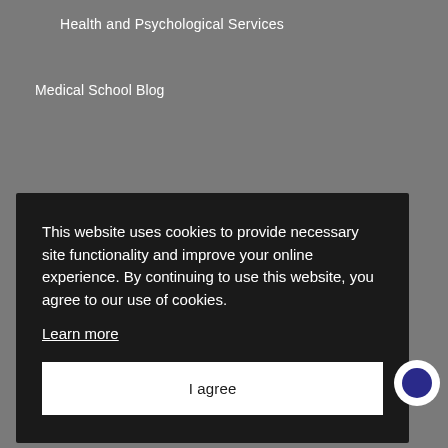Health and Psychological Services
Medical School Blog
This website uses cookies to provide necessary site functionality and improve your online experience. By continuing to use this website, you agree to our use of cookies.
Learn more
I agree